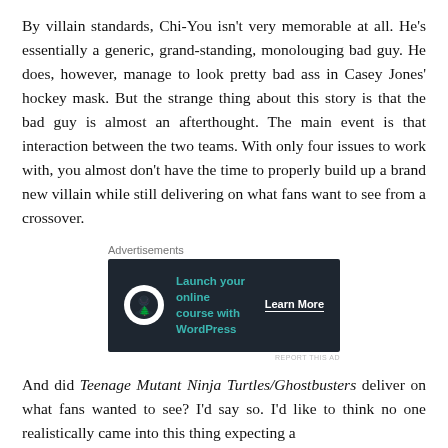By villain standards, Chi-You isn't very memorable at all. He's essentially a generic, grand-standing, monolouging bad guy. He does, however, manage to look pretty bad ass in Casey Jones' hockey mask. But the strange thing about this story is that the bad guy is almost an afterthought. The main event is that interaction between the two teams. With only four issues to work with, you almost don't have the time to properly build up a brand new villain while still delivering on what fans want to see from a crossover.
Advertisements
[Figure (other): Advertisement banner: dark background with tree/person icon, teal text 'Launch your online course with WordPress', white 'Learn More' button with underline]
And did Teenage Mutant Ninja Turtles/Ghostbusters deliver on what fans wanted to see? I'd say so. I'd like to think no one realistically came into this thing expecting a